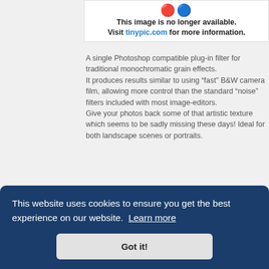[Figure (screenshot): Image unavailable placeholder with tinypic.com logo icons and message: 'This image is no longer available. Visit tinypic.com for more information.']
A single Photoshop compatible plug-in filter for traditional monochromatic grain effects. It produces results similar to using “fast” B&W camera film, allowing more control than the standard “noise” filters included with most image-editors. Give your photos back some of that artistic texture which seems to be sadly missing these days! Ideal for both landscape scenes or portraits.
Techni-X – Mono Repro FX
[Figure (illustration): Yellow smiley face emoji with closed eyes, partially visible at bottom of content area.]
This website uses cookies to ensure you get the best experience on our website. Learn more
Got it!